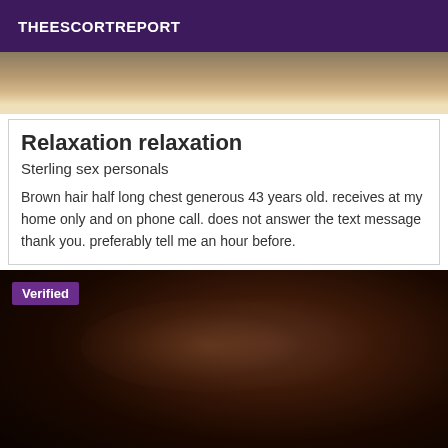THEESCORTREPORT
[Figure (photo): Top portion of a photo, partially visible, showing warm-toned background]
Relaxation relaxation
Sterling sex personals
Brown hair half long chest generous 43 years old. receives at my home only and on phone call. does not answer the text message thank you. preferably tell me an hour before.
[Figure (photo): Dark photo showing a person with brown hair, with a 'Verified' badge overlay in purple]